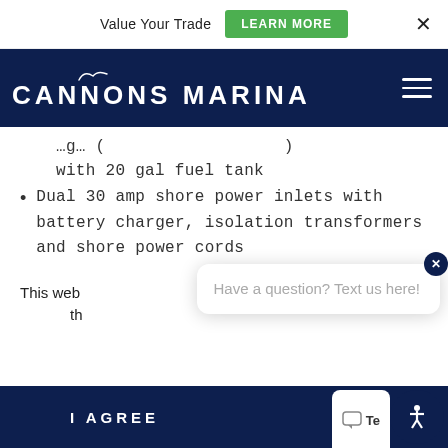Value Your Trade  LEARN MORE  ×
CANNONS MARINA
…g… (…y) with 20 gal fuel tank
Dual 30 amp shore power inlets with battery charger, isolation transformers and shore power cords
This web… th…
Have a question? Text us here!
I AGREE
Te